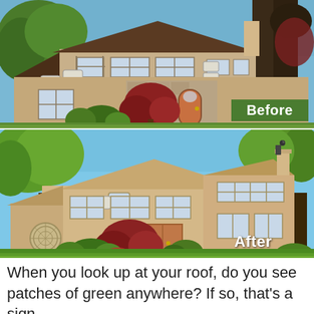[Figure (photo): Before photo: Front view of a suburban two-story house with dark brown/gray roof, tan stucco exterior, stone accents, red-leafed tree in front, skylight vents visible on roof, surrounded by green trees against blue sky. Green 'Before' label in bottom right.]
[Figure (photo): After photo: Same suburban house with a renovated tan/brown roof, improved appearance, more lush landscaping including red Japanese maple, green shrubs, and decorative circular window on left side. 'After' label in white text at bottom right.]
When you look up at your roof, do you see patches of green anywhere? If so, that's a sign